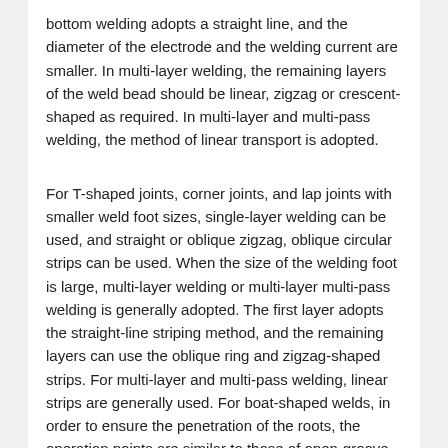bottom welding adopts a straight line, and the diameter of the electrode and the welding current are smaller. In multi-layer welding, the remaining layers of the weld bead should be linear, zigzag or crescent-shaped as required. In multi-layer and multi-pass welding, the method of linear transport is adopted.
For T-shaped joints, corner joints, and lap joints with smaller weld foot sizes, single-layer welding can be used, and straight or oblique zigzag, oblique circular strips can be used. When the size of the welding foot is large, multi-layer welding or multi-layer multi-pass welding is generally adopted. The first layer adopts the straight-line striping method, and the remaining layers can use the oblique ring and zigzag-shaped strips. For multi-layer and multi-pass welding, linear strips are generally used. For boat-shaped welds, in order to ensure the penetration of the roots, the operation points are similar to those of open-groove butt flat